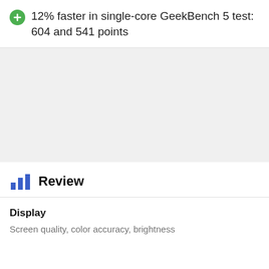12% faster in single-core GeekBench 5 test: 604 and 541 points
[Figure (other): Gray placeholder block representing an image or chart area]
Review
Display
Screen quality, color accuracy, brightness